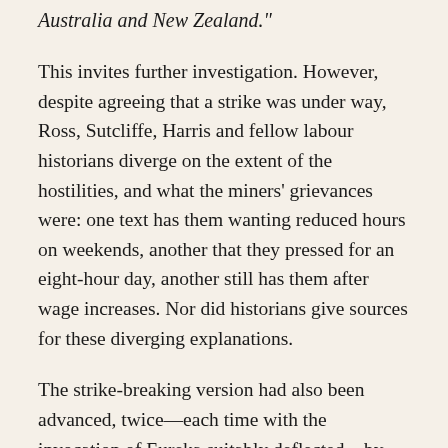Australia and New Zealand."
This invites further investigation. However, despite agreeing that a strike was under way, Ross, Sutcliffe, Harris and fellow labour historians diverge on the extent of the hostilities, and what the miners' grievances were: one text has them wanting reduced hours on weekends, another that they pressed for an eight-hour day, another still has them after wage increases. Nor did historians give sources for these diverging explanations.
The strike-breaking version had also been advanced, twice—each time with the invocation of Eureka suitably deflected—by Geoffrey Blainey. The first occasion was in his 1963 history of mining, The Rush that Never Ended, where, following a passage outlining how mining